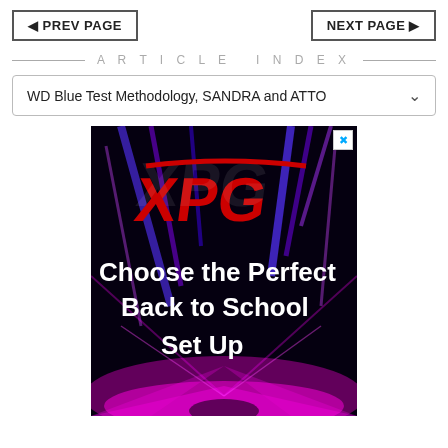PREV PAGE  |  NEXT PAGE
ARTICLE INDEX
WD Blue Test Methodology, SANDRA and ATTO
[Figure (photo): XPG advertisement banner showing colorful laser light show background with red XPG logo and white bold text reading 'Choose the Perfect Back to School Set Up']